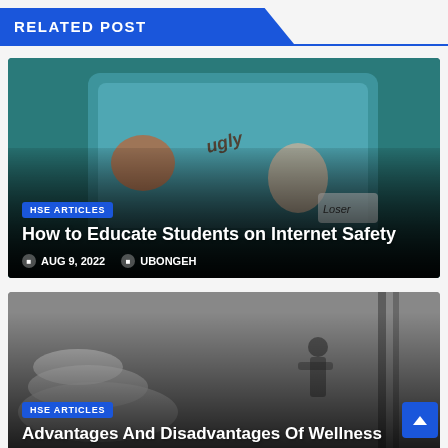RELATED POST
[Figure (illustration): Article thumbnail showing a cartoon of a girl being cyberbullied on a laptop, with angry characters throwing words like 'Ugly' and 'Loser' at her. Background is teal/blue digital theme.]
HSE ARTICLES
How to Educate Students on Internet Safety
AUG 9, 2022   UBONGEH
[Figure (photo): Black and white photo showing stacked stones in foreground and a silhouette of a person meditating in background. Wellness/mindfulness theme.]
HSE ARTICLES
Advantages And Disadvantages Of Wellness